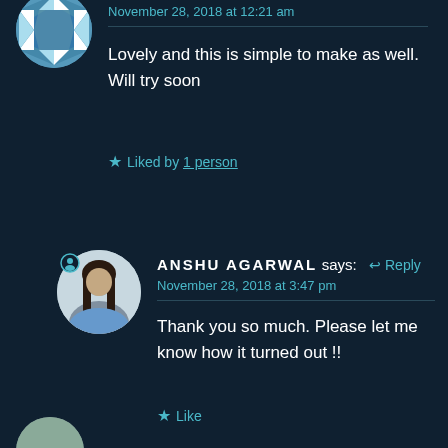[Figure (illustration): Circular avatar with blue and white geometric/quilt pattern, partially visible at top left]
November 28, 2018 at 12:21 am
Lovely and this is simple to make as well. Will try soon
Liked by 1 person
[Figure (photo): Circular avatar photo of a young woman with long dark hair wearing a blue shirt]
ANSHU AGARWAL says: Reply
November 28, 2018 at 3:47 pm
Thank you so much. Please let me know how it turned out !!
Like
[Figure (photo): Partial circular avatar at bottom left, partially visible]